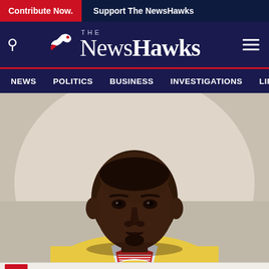Contribute Now. | Support The NewsHawks
The NewsHawks
NEWS | POLITICS | BUSINESS | INVESTIGATIONS | LIFE & S
[Figure (photo): Portrait photo of a man wearing a yellow sweater over a red and white striped shirt, looking directly at the camera against a light background]